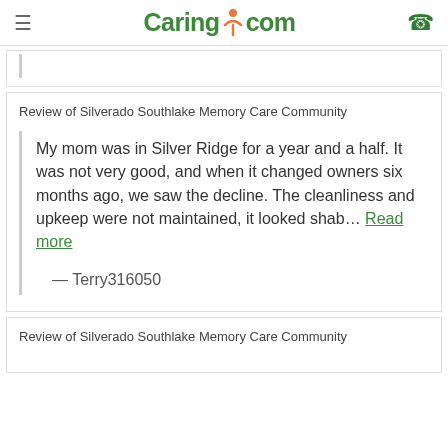Caring.com
Review of Silverado Southlake Memory Care Community
My mom was in Silver Ridge for a year and a half. It was not very good, and when it changed owners six months ago, we saw the decline. The cleanliness and upkeep were not maintained, it looked shab... Read more
— Terry316050
Review of Silverado Southlake Memory Care Community